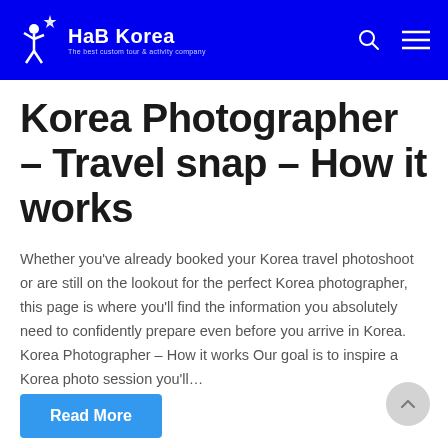HaB Korea – The best custom tour & activity company
Korea Photographer – Travel snap – How it works
Whether you've already booked your Korea travel photoshoot or are still on the lookout for the perfect Korea photographer, this page is where you'll find the information you absolutely need to confidently prepare even before you arrive in Korea. Korea Photographer – How it works Our goal is to inspire a Korea photo session you'll...
Read More